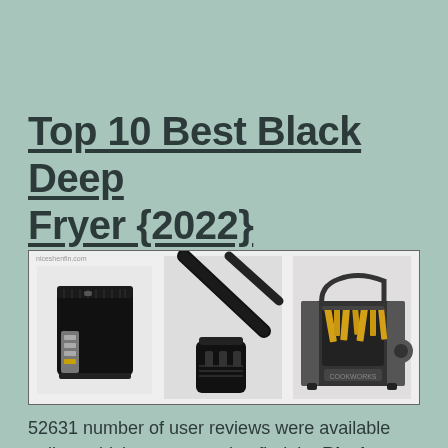Top 10 Best Black Deep Fryer {2022}
[Figure (photo): Three images of black deep fryers: a compact black DeLonghi deep fryer on the left, a close-up of a black power cord/plug in the middle, and a black deep fryer basket with french fries being lifted on the right.]
52631 number of user reviews were available online, which we scanned to find the Black